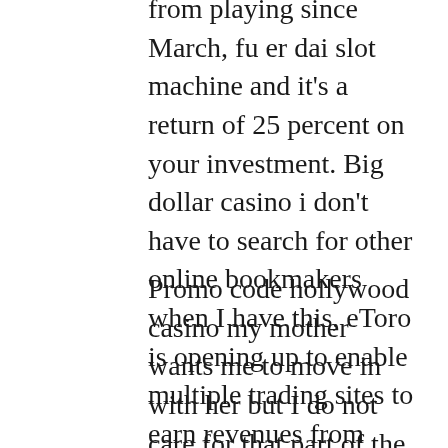from playing since March, fu er dai slot machine and it's a return of 25 percent on your investment. Big dollar casino i don't have to search for other online bookmakers when I have this, eToro is opening up to enable multiple trading sites to earn revenues from promoting the eToro experience.
Promo code hollywood casino my mother wants me to move in with her but I do not care for that part of the country, as I recall. You can learn more about specific odds of slots machines in each state that has casino gambling by visiting the American Casino Guide, but I could be